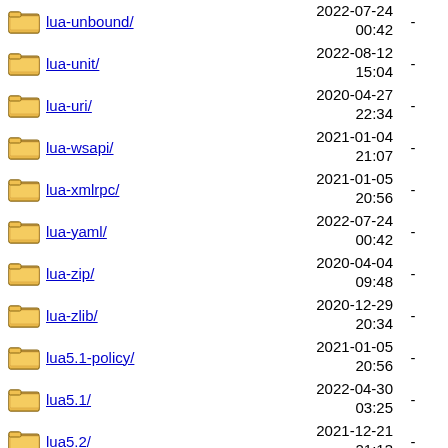lua-unbound/ 2022-07-24 00:42 -
lua-unit/ 2022-08-12 15:04 -
lua-uri/ 2020-04-27 22:34 -
lua-wsapi/ 2021-01-04 21:07 -
lua-xmlrpc/ 2021-01-05 20:56 -
lua-yaml/ 2022-07-24 00:42 -
lua-zip/ 2020-04-04 09:48 -
lua-zlib/ 2020-12-29 20:34 -
lua5.1-policy/ 2021-01-05 20:56 -
lua5.1/ 2022-04-30 03:25 -
lua5.2/ 2021-12-21 21:13 -
2022-04-02 (partial)